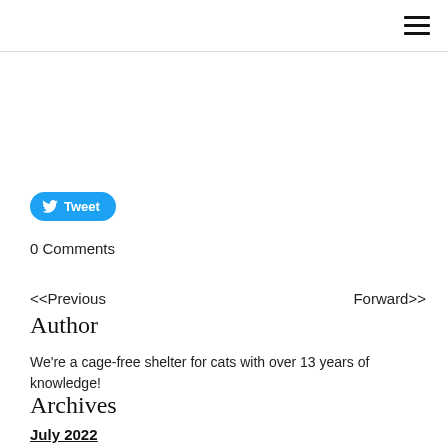≡
[Figure (other): Tweet button with Twitter bird icon]
0 Comments
<<Previous
Forward>>
Author
We're a cage-free shelter for cats with over 13 years of knowledge!
Archives
July 2022